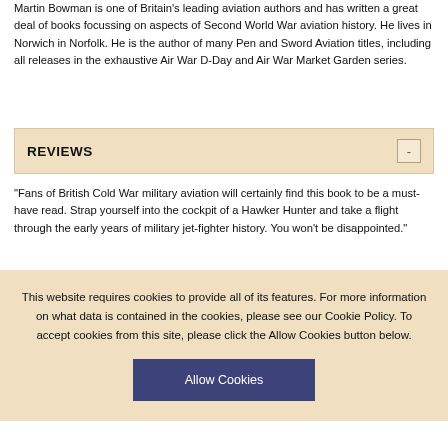Martin Bowman is one of Britain's leading aviation authors and has written a great deal of books focussing on aspects of Second World War aviation history. He lives in Norwich in Norfolk. He is the author of many Pen and Sword Aviation titles, including all releases in the exhaustive Air War D-Day and Air War Market Garden series.
REVIEWS
"Fans of British Cold War military aviation will certainly find this book to be a must-have read. Strap yourself into the cockpit of a Hawker Hunter and take a flight through the early years of military jet-fighter history. You won't be disappointed."
- Air Power History
This website requires cookies to provide all of its features. For more information on what data is contained in the cookies, please see our Cookie Policy. To accept cookies from this site, please click the Allow Cookies button below.